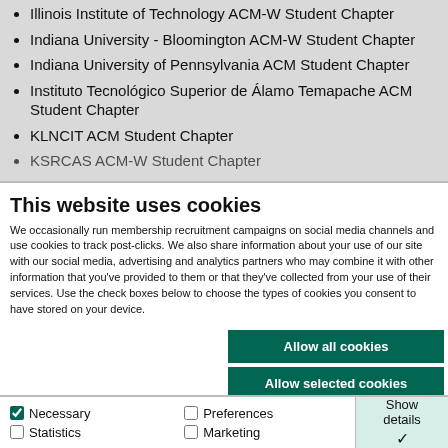Illinois Institute of Technology ACM-W Student Chapter
Indiana University - Bloomington ACM-W Student Chapter
Indiana University of Pennsylvania ACM Student Chapter
Instituto Tecnológico Superior de Álamo Temapache ACM Student Chapter
KLNCIT ACM Student Chapter
KSRCAS ACM-W Student Chapter
This website uses cookies
We occasionally run membership recruitment campaigns on social media channels and use cookies to track post-clicks. We also share information about your use of our site with our social media, advertising and analytics partners who may combine it with other information that you've provided to them or that they've collected from your use of their services. Use the check boxes below to choose the types of cookies you consent to have stored on your device.
Allow all cookies
Allow selected cookies
Use necessary cookies only
Necessary  Preferences  Statistics  Marketing  Show details